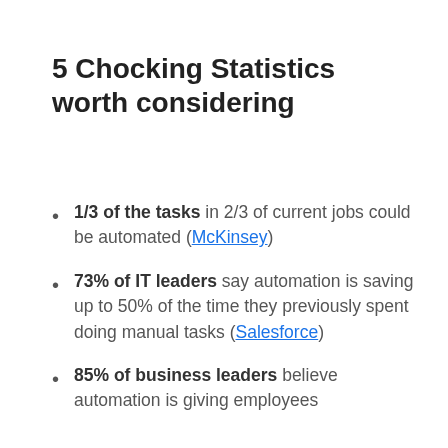5 Chocking Statistics worth considering
1/3 of the tasks in 2/3 of current jobs could be automated (McKinsey)
73% of IT leaders say automation is saving up to 50% of the time they previously spent doing manual tasks (Salesforce)
85% of business leaders believe automation is giving employees